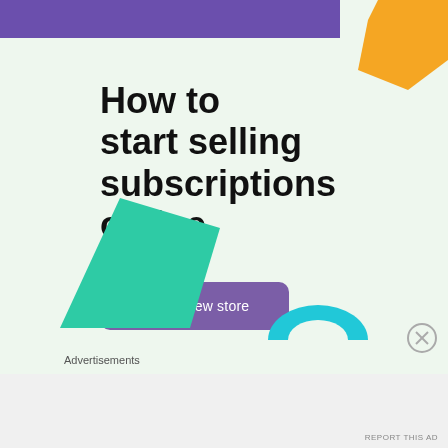[Figure (illustration): Purple banner at top of page with orange decorative shape at top-right corner]
How to start selling subscriptions online
Start a new store
[Figure (illustration): Teal/green trapezoid shape at bottom-left and light blue curved shape at bottom-right, decorative elements]
Advertisements
REPORT THIS AD